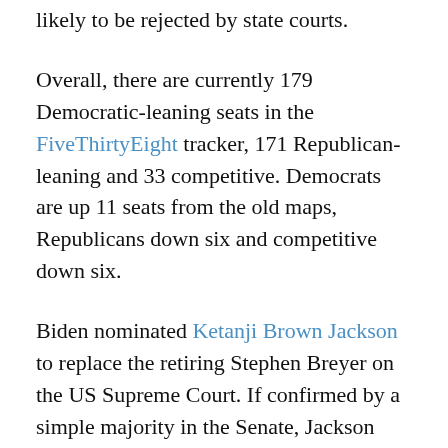likely to be rejected by state courts.
Overall, there are currently 179 Democratic-leaning seats in the FiveThirtyEight tracker, 171 Republican-leaning and 33 competitive. Democrats are up 11 seats from the old maps, Republicans down six and competitive down six.
Biden nominated Ketanji Brown Jackson to replace the retiring Stephen Breyer on the US Supreme Court. If confirmed by a simple majority in the Senate, Jackson will be the first Black woman Supreme Court judge. But she will replace a left-wing judge, and the 6-3 right majority will be retained.